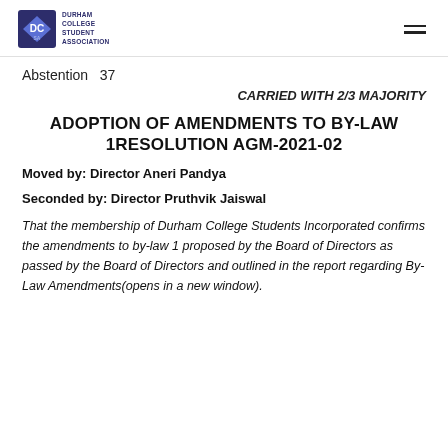Durham College Student Association
Abstention   37
CARRIED WITH 2/3 MAJORITY
ADOPTION OF AMENDMENTS TO BY-LAW 1RESOLUTION AGM-2021-02
Moved by: Director Aneri Pandya
Seconded by: Director Pruthvik Jaiswal
That the membership of Durham College Students Incorporated confirms the amendments to by-law 1 proposed by the Board of Directors as passed by the Board of Directors and outlined in the report regarding By-Law Amendments(opens in a new window).